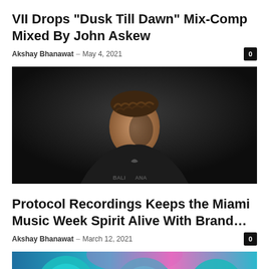VII Drops “Dusk Till Dawn” Mix-Comp Mixed By John Askew
Akshay Bhanawat – May 4, 2021   0
[Figure (photo): Dark moody portrait of a young man with curly hair wearing a black hoodie, looking to the side against a dark background.]
Protocol Recordings Keeps the Miami Music Week Spirit Alive With Brand…
Akshay Bhanawat – March 12, 2021   0
[Figure (photo): Colorful abstract image with blue, teal, and pink tones, partially visible at the bottom of the page.]